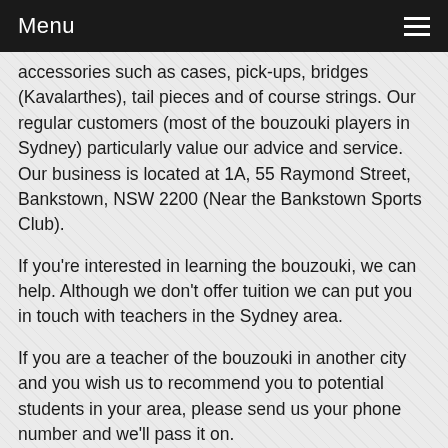Menu
accessories such as cases, pick-ups, bridges (Kavalarthes), tail pieces and of course strings. Our regular customers (most of the bouzouki players in Sydney) particularly value our advice and service. Our business is located at 1A, 55 Raymond Street, Bankstown, NSW 2200 (Near the Bankstown Sports Club).
If you're interested in learning the bouzouki, we can help. Although we don't offer tuition we can put you in touch with teachers in the Sydney area.
If you are a teacher of the bouzouki in another city and you wish us to recommend you to potential students in your area, please send us your phone number and we'll pass it on.
(File photos. Not actual items)
The recommended retail prices (RRPs) are for reference